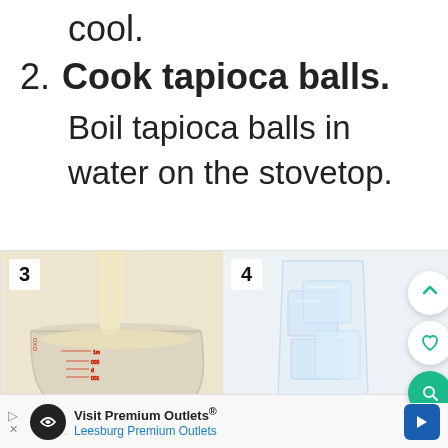cool.
2. Cook tapioca balls. Boil tapioca balls in water on the stovetop.
[Figure (photo): Step 3: Cream or condensed milk being poured into a measuring cup]
[Figure (photo): Step 4: Ice cubes in a clear glass]
Visit Premium Outlets® Leesburg Premium Outlets